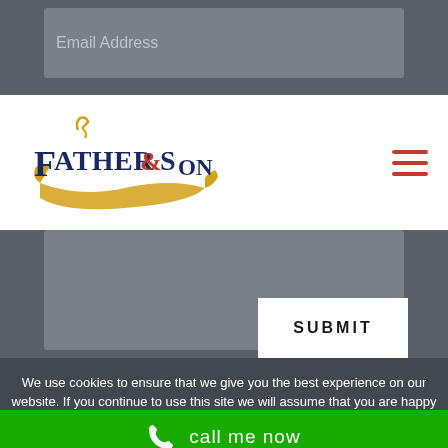[Figure (screenshot): Email address input field placeholder on dark gray background]
[Figure (logo): Father & Son logo with decorative banner, navy blue text with red ampersand and yellow flourish]
[Figure (screenshot): Hamburger menu icon with three red horizontal lines]
[Figure (screenshot): Text area input box on dark gray background with resize handle]
SUBMIT
We use cookies to ensure that we give you the best experience on our website. If you continue to use this site we will assume that you are happy with it.
call me now